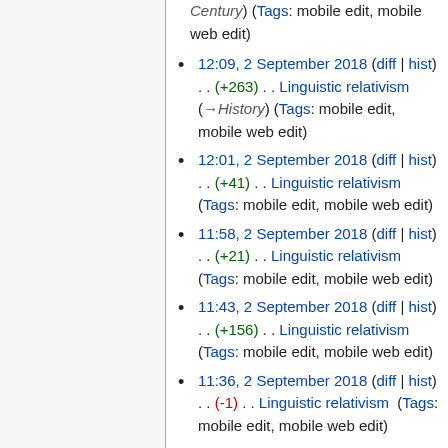Century) (Tags: mobile edit, mobile web edit)
12:09, 2 September 2018 (diff | hist) . . (+263) . . Linguistic relativism (→History) (Tags: mobile edit, mobile web edit)
12:01, 2 September 2018 (diff | hist) . . (+41) . . Linguistic relativism (Tags: mobile edit, mobile web edit)
11:58, 2 September 2018 (diff | hist) . . (+21) . . Linguistic relativism (Tags: mobile edit, mobile web edit)
11:43, 2 September 2018 (diff | hist) . . (+156) . . Linguistic relativism (Tags: mobile edit, mobile web edit)
11:36, 2 September 2018 (diff | hist) . . (-1) . . Linguistic relativism (Tags: mobile edit, mobile web edit)
11:34, 2 September 2018 (diff | hist) . . (+50) . . Linguistic relativism (Tags: